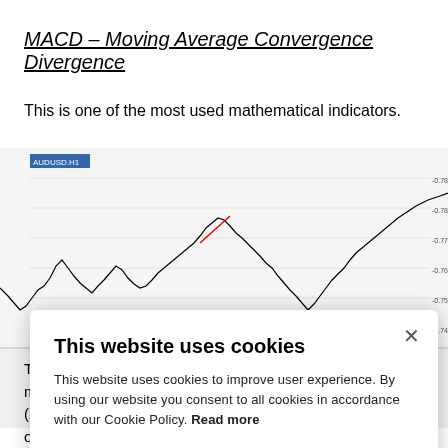MACD – Moving Average Convergence Divergence
This is one of the most used mathematical indicators.
[Figure (screenshot): Screenshot of a trading platform showing AUD/USD price chart with candlestick/line data and MACD indicator below, partially obscured by a cookie consent dialog.]
This website uses cookies

This website uses cookies to improve user experience. By using our website you consent to all cookies in accordance with our Cookie Policy. Read more

[I AGREE] [I DISAGREE]
T…wo exponential m… and a long one (2… above the long one, the MACD is positive and it's generally a buying